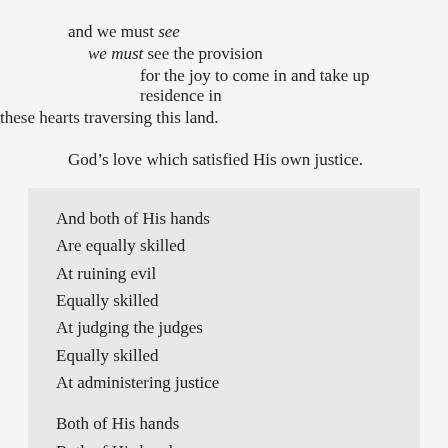and we must see
    we must see the provision
        for the joy to come in and take up residence in these hearts traversing this land.
God’s love which satisfied His own justice.
And both of His hands
Are equally skilled
At ruining evil
Equally skilled
At judging the judges
Equally skilled
At administering justice

Both of His hands
Both of His hands